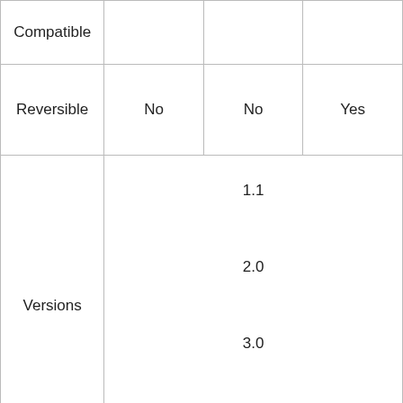| Compatible |  |  |  |
| Reversible | No | No | Yes |
| Versions | 1.1
2.0
3.0
3.1 |
| Version Speed | 1.1 - top speed of 12Mbps
2.0 – top speed of 480Mbps
3.0 – top speed of 5Gbps
3.1 – top speed of 10Gbps |